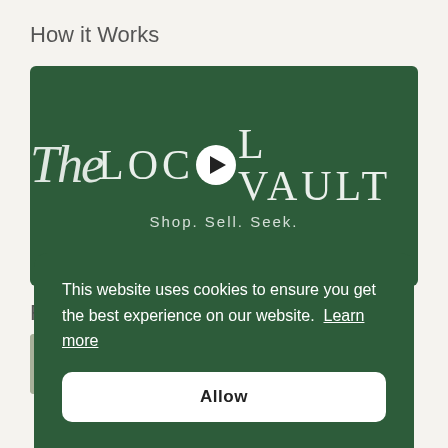How it Works
[Figure (screenshot): Video thumbnail showing The Local Vault logo on a dark green background with a play button in the center. Text reads 'The LOCAL VAULT — Shop. Sell. Seek.']
Fo...
[Figure (photo): Partial view of a grid of small product images at the bottom of the page]
This website uses cookies to ensure you get the best experience on our website. Learn more
Allow